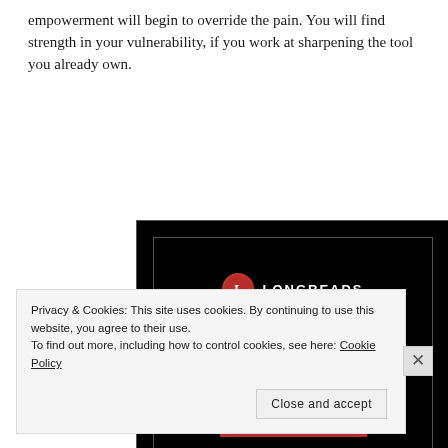empowerment will begin to override the pain. You will find strength in your vulnerability, if you work at sharpening the tool you already own.
[Figure (screenshot): Longreads advertisement banner with black background showing logo, headline 'Read anything great lately?' and a red 'Start reading' button]
Privacy & Cookies: This site uses cookies. By continuing to use this website, you agree to their use.
To find out more, including how to control cookies, see here: Cookie Policy
Close and accept